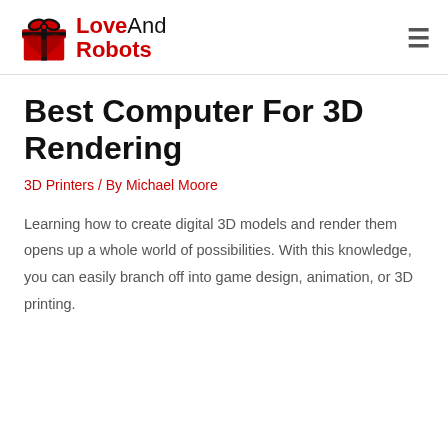LoveAndRobots
Best Computer For 3D Rendering
3D Printers / By Michael Moore
Learning how to create digital 3D models and render them opens up a whole world of possibilities. With this knowledge, you can easily branch off into game design, animation, or 3D printing.